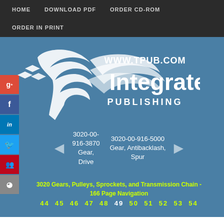HOME   DOWNLOAD PDF   ORDER CD-ROM   ORDER IN PRINT
[Figure (logo): Integrated Publishing logo with bird/feather graphic and text WWW.TPUB.COM Integrated PUBLISHING on blue background]
3020-00-916-3870 Gear, Drive
3020-00-916-5000 Gear, Antibacklash, Spur
3020 Gears, Pulleys, Sprockets, and Transmission Chain - 166 Page Navigation
44  45  46  47  48  49  50  51  52  53  54